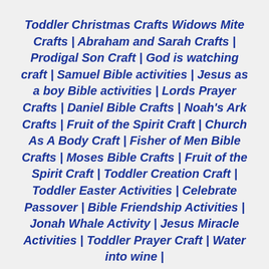Toddler Christmas Crafts Widows Mite Crafts | Abraham and Sarah Crafts | Prodigal Son Craft | God is watching craft | Samuel Bible activities | Jesus as a boy Bible activities | Lords Prayer Crafts | Daniel Bible Crafts | Noah's Ark Crafts | Fruit of the Spirit Craft | Church As A Body Craft | Fisher of Men Bible Crafts | Moses Bible Crafts | Fruit of the Spirit Craft | Toddler Creation Craft | Toddler Easter Activities | Celebrate Passover | Bible Friendship Activities | Jonah Whale Activity | Jesus Miracle Activities | Toddler Prayer Craft | Water into wine |